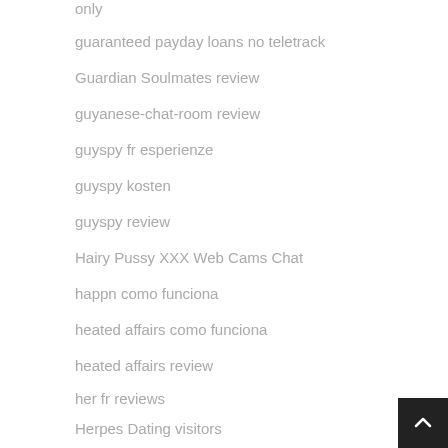only
guaranteed payday loans no teletrack
Guardian Soulmates review
guyanese-chat-room review
guyspy fr esperienze
guyspy kosten
guyspy review
Hairy Pussy XXX Web Cams Chat
happn como funciona
heated affairs como funciona
heated affairs review
her fr reviews
Herpes Dating visitors